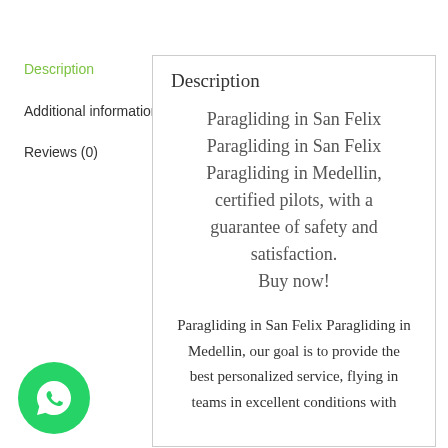Description
Additional information
Reviews (0)
Description
Paragliding in San Felix Paragliding in San Felix Paragliding in Medellin, certified pilots, with a guarantee of safety and satisfaction.
Buy now!
Paragliding in San Felix Paragliding in Medellin, our goal is to provide the best personalized service, flying in teams in excellent conditions with
[Figure (logo): WhatsApp green circle button with phone handset icon]